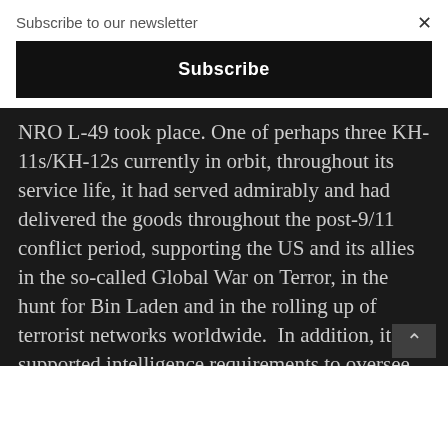Subscribe to our newsletter
Subscribe
NRO L-49 took place. One of perhaps three KH-11s/KH-12s currently in orbit, throughout its service life, it had served admirably and had delivered the goods throughout the post-9/11 conflict period, supporting the US and its allies in the so-called Global War on Terror, in the hunt for Bin Laden and in the rolling up of terrorist networks worldwide. In addition, it supported intelligence requirements to oversee Iran's nuclear build-up, North